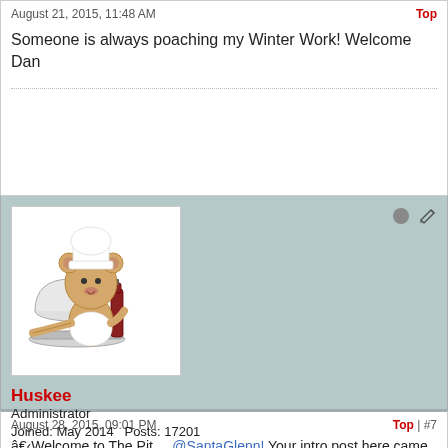August 21, 2015, 11:48 AM
Top | #8
Someone is always poaching my Winter Work! Welcome Dan
[Figure (illustration): Cartoon bear avatar dressed as a chef/waiter holding a serving tray with food and a wine bottle]
Huskee
Administrator
Joined: May 2014    Posts: 17201
Location: Clare, Michigan area
August 28, 2015, 09:01 PM
Top | #7
â€‹Welcome to The Pit    @SantaGlenn! Your intro post here came through perfect, well done sir! I will call you friend.

Since this is one of your first posts, please check out our homework assignment post for new members, it contains a few how-tos and please-dos.